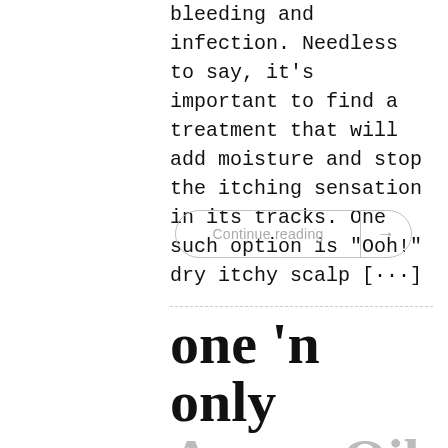bleeding and infection. Needless to say, it’s important to find a treatment that will add moisture and stop the itching sensation in its tracks. One such option is “Ooh!” dry itchy scalp [⋯]
Continue reading →
one ’n only Argan Oil Dry Scalp